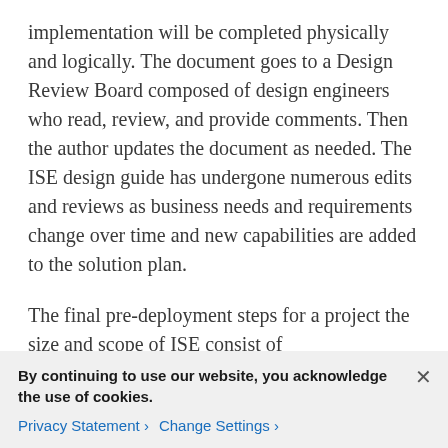implementation will be completed physically and logically. The document goes to a Design Review Board composed of design engineers who read, review, and provide comments. Then the author updates the document as needed. The ISE design guide has undergone numerous edits and reviews as business needs and requirements change over time and new capabilities are added to the solution plan.
The final pre-deployment steps for a project the size and scope of ISE consist of communications, implementation resourcing (more on this below), and operational support
By continuing to use our website, you acknowledge the use of cookies.
Privacy Statement > Change Settings >